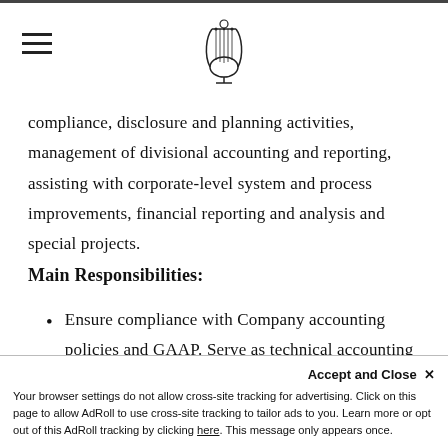[Logo and hamburger menu]
compliance, disclosure and planning activities, management of divisional accounting and reporting, assisting with corporate-level system and process improvements, financial reporting and analysis and special projects.
Main Responsibilities:
Ensure compliance with Company accounting policies and GAAP. Serve as technical accounting resource to management and divisional accounting departments. (partially visible)
[partially visible text]
Accept and Close ✕
Your browser settings do not allow cross-site tracking for advertising. Click on this page to allow AdRoll to use cross-site tracking to tailor ads to you. Learn more or opt out of this AdRoll tracking by clicking here. This message only appears once.